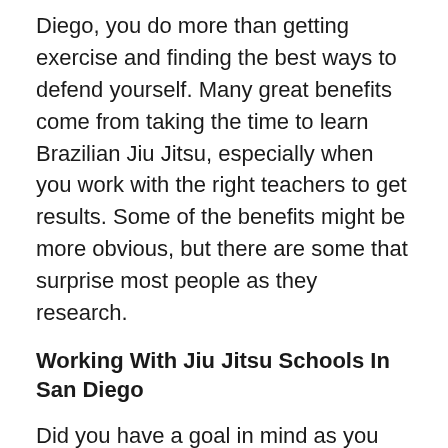Diego, you do more than getting exercise and finding the best ways to defend yourself. Many great benefits come from taking the time to learn Brazilian Jiu Jitsu, especially when you work with the right teachers to get results. Some of the benefits might be more obvious, but there are some that surprise most people as they research.
Working With Jiu Jitsu Schools In San Diego
Did you have a goal in mind as you started to look for a martial arts school in San Diego? You will hear several answers from people when asked about their goals. Some want to have a fun physical activity, others want to grapple better in preparation for MMA fighting, and others just want the self-defense aspect. There